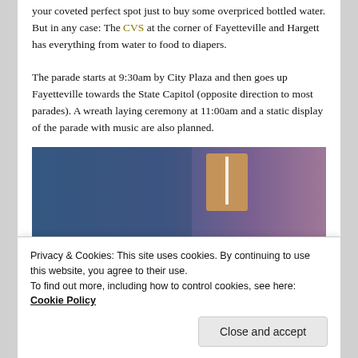your coveted perfect spot just to buy some overpriced bottled water. But in any case: The CVS at the corner of Fayetteville and Hargett has everything from water to food to diapers.
The parade starts at 9:30am by City Plaza and then goes up Fayetteville towards the State Capitol (opposite direction to most parades). A wreath laying ceremony at 11:00am and a static display of the parade with music are also planned.
[Figure (photo): Partially visible image with blue-to-purple gradient background and a tan/brown rectangular shape visible in the upper right area]
Privacy & Cookies: This site uses cookies. By continuing to use this website, you agree to their use.
To find out more, including how to control cookies, see here: Cookie Policy